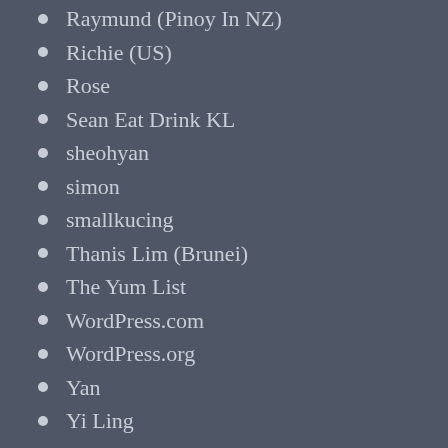Raymund (Pinoy In NZ)
Richie (US)
Rose
Sean Eat Drink KL
sheohyan
simon
smallkucing
Thanis Lim (Brunei)
The Yum List
WordPress.com
WordPress.org
Yan
Yi Ling
zewt
囧囧囧囧